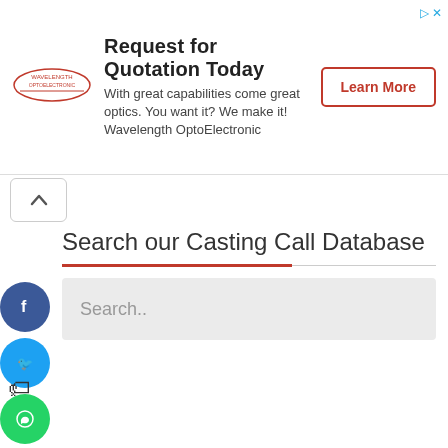[Figure (infographic): Advertisement banner: Request for Quotation Today - Wavelength OptoElectronic. With logo, descriptive text, and Learn More button.]
[Figure (infographic): Chevron up arrow button]
Search our Casting Call Database
[Figure (infographic): Search input box with placeholder text 'Search..']
[Figure (infographic): Social media share icons: Facebook, Twitter, WhatsApp, Email]
[Figure (infographic): Share/bookmark icon]